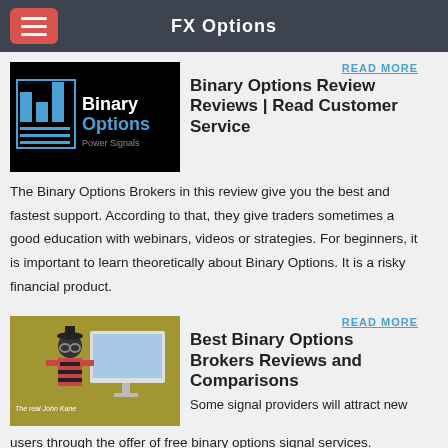FX Options
[Figure (logo): Binary Options Power Signals logo on black background]
READ MORE
Binary Options Review Reviews | Read Customer Service
The Binary Options Brokers in this review give you the best and fastest support. According to that, they give traders sometimes a good education with webinars, videos or strategies. For beginners, it is important to learn theoretically about Binary Options. It is a risky financial product.
[Figure (illustration): Illustration showing a hacker figure at a computer with text 'The real John Kane' on a yellow background]
READ MORE
Best Binary Options Brokers Reviews and Comparisons
Some signal providers will attract new users through the offer of free binary options signal services.